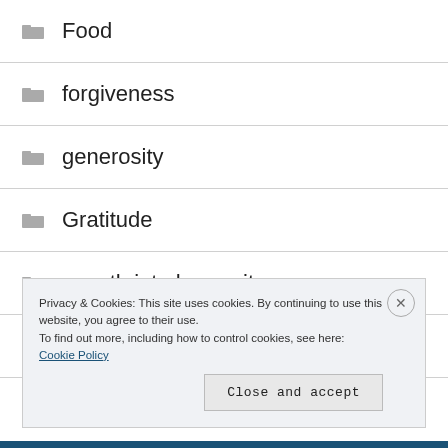Food
forgiveness
generosity
Gratitude
growth into humanity
happiness
hope (partial)
Privacy & Cookies: This site uses cookies. By continuing to use this website, you agree to their use.
To find out more, including how to control cookies, see here: Cookie Policy
Close and accept